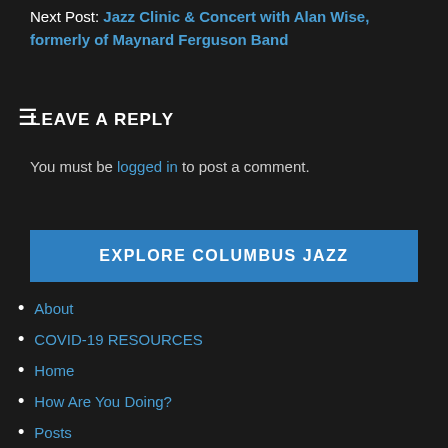Next Post: Jazz Clinic & Concert with Alan Wise, formerly of Maynard Ferguson Band
LEAVE A REPLY
You must be logged in to post a comment.
EXPLORE COLUMBUS JAZZ
About
COVID-19 RESOURCES
Home
How Are You Doing?
Posts
Musicians